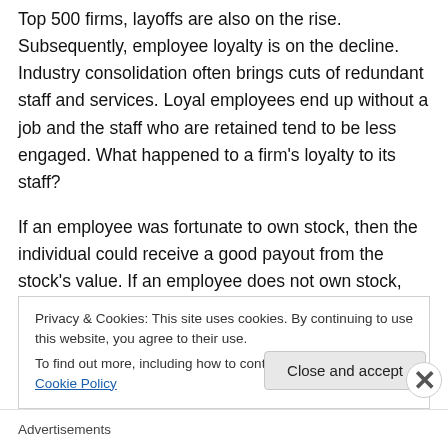Top 500 firms, layoffs are also on the rise. Subsequently, employee loyalty is on the decline. Industry consolidation often brings cuts of redundant staff and services. Loyal employees end up without a job and the staff who are retained tend to be less engaged. What happened to a firm's loyalty to its staff?
If an employee was fortunate to own stock, then the individual could receive a good payout from the stock's value. If an employee does not own stock, then that person may simply be out of a job with little to no financial
Privacy & Cookies: This site uses cookies. By continuing to use this website, you agree to their use.
To find out more, including how to control cookies, see here: Cookie Policy
Close and accept
Advertisements